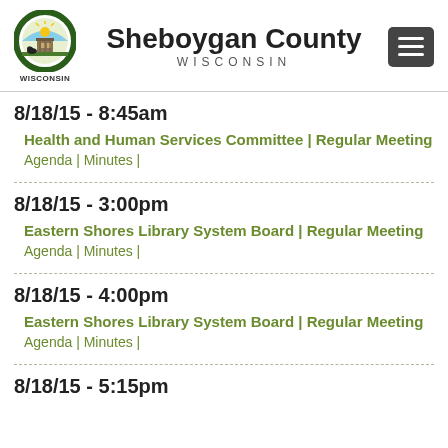Sheboygan County Wisconsin
8/18/15 - 8:45am
Health and Human Services Committee | Regular Meeting
Agenda | Minutes |
8/18/15 - 3:00pm
Eastern Shores Library System Board | Regular Meeting
Agenda | Minutes |
8/18/15 - 4:00pm
Eastern Shores Library System Board | Regular Meeting
Agenda | Minutes |
8/18/15 - 5:15pm